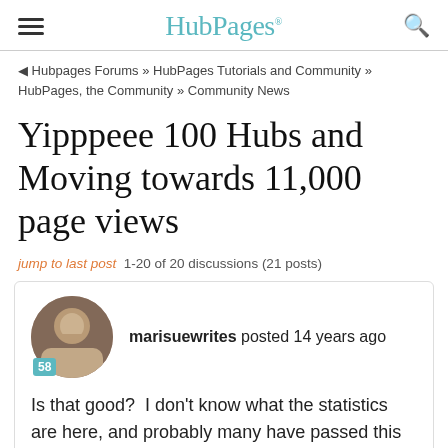HubPages
Hubpages Forums » HubPages Tutorials and Community » HubPages, the Community » Community News
Yipppeee 100 Hubs and Moving towards 11,000 page views
jump to last post  1-20 of 20 discussions (21 posts)
marisuewrites posted 14 years ago
Is that good?  I don't know what the statistics are here, and probably many have passed this one up...but I was excited about these numbers!!